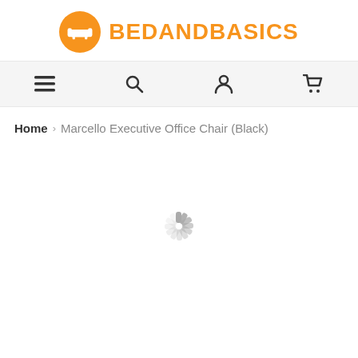[Figure (logo): BedAndBasics logo with orange circle containing a sofa icon and orange bold text BEDANDBASICS]
[Figure (screenshot): Navigation bar with hamburger menu, search, account, and cart icons on a light grey background]
Home > Marcello Executive Office Chair (Black)
[Figure (other): Loading spinner (circular dashed spinner in grey)]